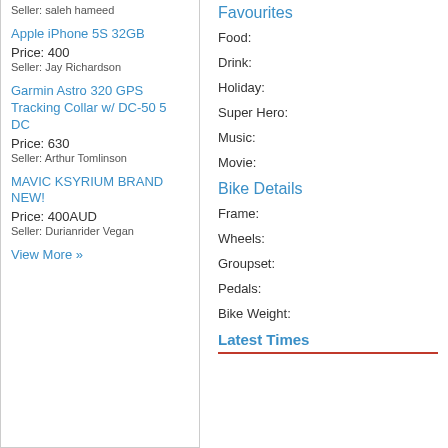Seller: saleh hameed
Apple iPhone 5S 32GB
Price: 400
Seller: Jay Richardson
Garmin Astro 320 GPS Tracking Collar w/ DC-50 5 DC
Price: 630
Seller: Arthur Tomlinson
MAVIC KSYRIUM BRAND NEW!
Price: 400AUD
Seller: Durianrider Vegan
View More »
Favourites
Food:
Drink:
Holiday:
Super Hero:
Music:
Movie:
Bike Details
Frame:
Wheels:
Groupset:
Pedals:
Bike Weight:
Latest Times